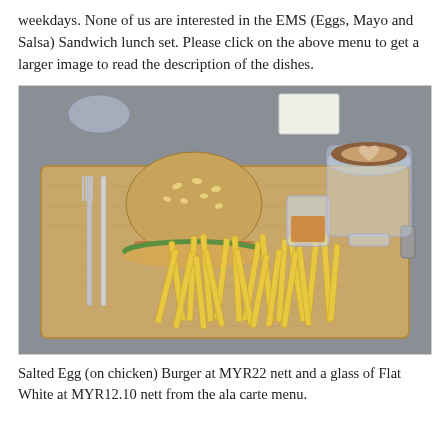weekdays. None of us are interested in the EMS (Eggs, Mayo and Salsa) Sandwich lunch set. Please click on the above menu to get a larger image to read the description of the dishes.
[Figure (photo): A burger (Salted Egg on chicken) with a large pile of french fries served on a wooden cutting board, with a fork and knife on the left, a small glass of sauce, and a glass of flat white coffee with latte art on the right. The board is on a grey table.]
Salted Egg (on chicken) Burger at MYR22 nett and a glass of Flat White at MYR12.10 nett from the ala carte menu.